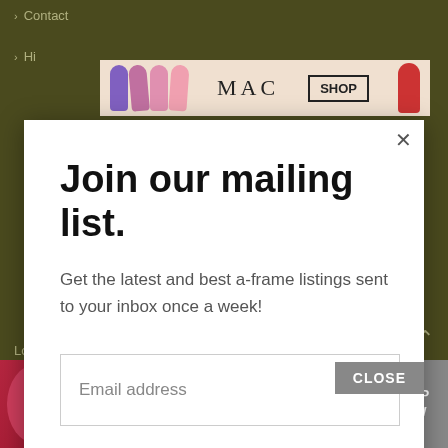[Figure (screenshot): Dark olive website background with navigation links (Contact, Hi...) and a MAC cosmetics advertisement banner showing colorful nail polish swatches and SHOP button]
[Figure (screenshot): Modal popup overlay with white background containing mailing list signup form]
Join our mailing list.
Get the latest and best a-frame listings sent to your inbox once a week!
Email address
Subscribe
CLOSE
[Figure (screenshot): Bottom advertisement strip showing beauty/cosmetics ads including lips, brush, eye, Ulta Beauty logo, smoky eye, and SHOP NOW button]